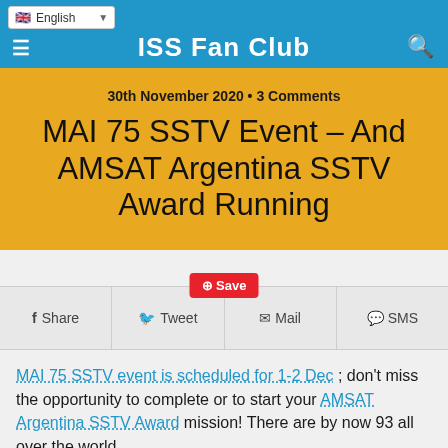ISS Fan Club
30th November 2020 • 3 Comments
MAI 75 SSTV Event – And AMSAT Argentina SSTV Award Running
Share  Tweet  Save  Mail  SMS
MAI 75 SSTV event is scheduled for 1-2 Dec ; don't miss the opportunity to complete or to start your AMSAT Argentina SSTV Award mission! There are by now 93 all over the world.
1. Task to be carried out: